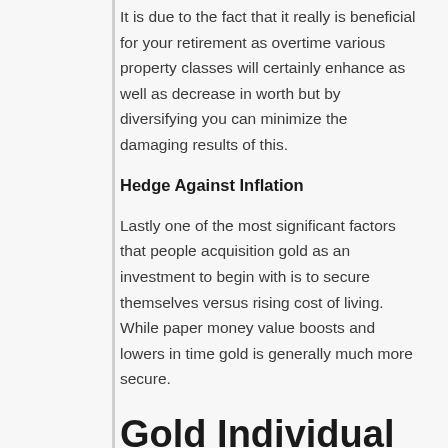It is due to the fact that it really is beneficial for your retirement as overtime various property classes will certainly enhance as well as decrease in worth but by diversifying you can minimize the damaging results of this.
Hedge Against Inflation
Lastly one of the most significant factors that people acquisition gold as an investment to begin with is to secure themselves versus rising cost of living. While paper money value boosts and lowers in time gold is generally much more secure.
Gold Individual